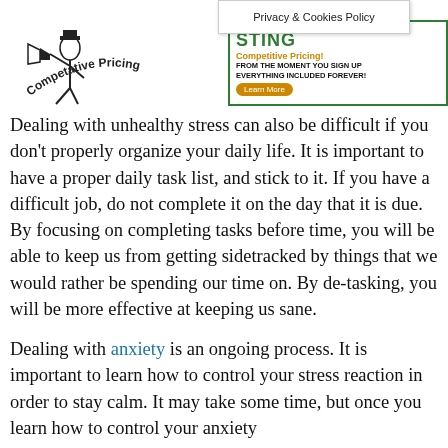[Figure (other): Privacy & Cookies Policy popup box overlay]
[Figure (illustration): Logo illustration of a person with megaphone and text 'Competative Pricing' in an arc, with a hosting ad banner showing 'Competitive Pricing! FROM THE MOMENT YOU SIGN UP EVERYTHING INCLUDED FOREVER! Learn More']
Dealing with unhealthy stress can also be difficult if you don't properly organize your daily life. It is important to have a proper daily task list, and stick to it. If you have a difficult job, do not complete it on the day that it is due. By focusing on completing tasks before time, you will be able to keep us from getting sidetracked by things that we would rather be spending our time on. By de-tasking, you will be more effective at keeping us sane.
Dealing with anxiety is an ongoing process. It is important to learn how to control your stress reaction in order to stay calm. It may take some time, but once you learn how to control your anxiety